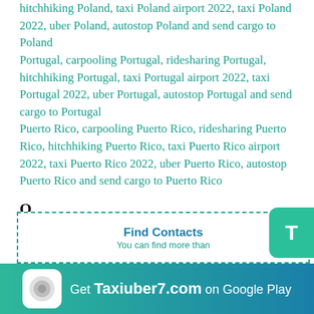hitchhiking Poland, taxi Poland airport 2022, taxi Poland 2022, uber Poland, autostop Poland and send cargo to Poland
Portugal, carpooling Portugal, ridesharing Portugal, hitchhiking Portugal, taxi Portugal airport 2022, taxi Portugal 2022, uber Portugal, autostop Portugal and send cargo to Portugal
Puerto Rico, carpooling Puerto Rico, ridesharing Puerto Rico, hitchhiking Puerto Rico, taxi Puerto Rico airport 2022, taxi Puerto Rico 2022, uber Puerto Rico, autostop Puerto Rico and send cargo to Puerto Rico
Q
Qatar, carpooling Qatar, ridesharing Qatar, hitchhiking Qatar, taxi Qatar airport 2022, taxi Qatar 2022, uber Qatar, autostop Qatar and send cargo to Qatar
R
Find Contacts
You can find more than
Get Taxiuber7.com on Google Play